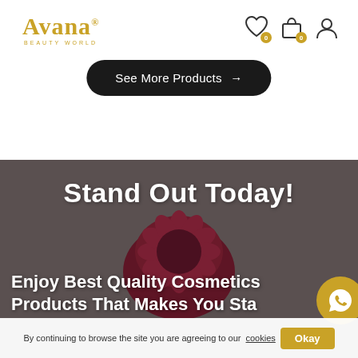[Figure (logo): Avana Beauty World logo in gold/yellow color]
[Figure (other): Navigation icons: heart/wishlist with badge 0, shopping bag with badge 0, user profile icon]
See More Products →
[Figure (photo): Dark red/maroon flower (chrysanthemum) on gray background. Text overlays: 'Stand Out Today!' and 'Enjoy Best Quality Cosmetics Products That Makes You Sta...' with WhatsApp button in gold circle]
By continuing to browse the site you are agreeing to our cookies Okay